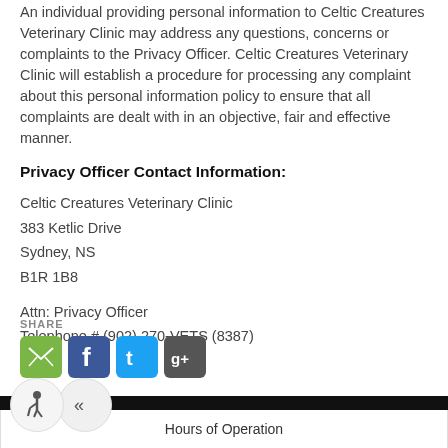An individual providing personal information to Celtic Creatures Veterinary Clinic may address any questions, concerns or complaints to the Privacy Officer. Celtic Creatures Veterinary Clinic will establish a procedure for processing any complaint about this personal information policy to ensure that all complaints are dealt with in an objective, fair and effective manner.
Privacy Officer Contact Information:
Celtic Creatures Veterinary Clinic
383 Ketlic Drive
Sydney, NS
B1R 1B8
Attn: Privacy Officer
Telephone # (902) 270-VETS (8387)
SHARE
[Figure (infographic): Social share icons: email (green), Facebook (blue), Twitter (cyan), Google+ (dark grey)]
[Figure (infographic): Accessibility widget icons: wheelchair symbol circle and double chevron pill]
Hours of Operation